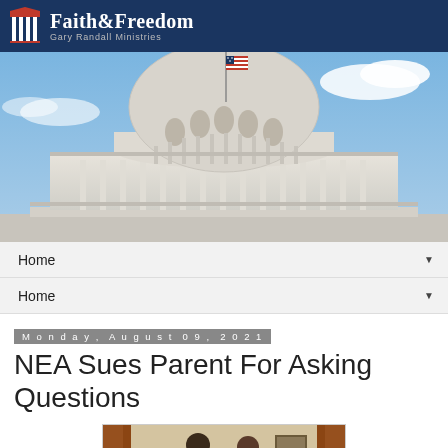Faith&Freedom — Gary Randall Ministries
[Figure (photo): US Capitol building dome with American flag, blue sky with clouds]
Home ▼
Home ▼
Monday, August 09, 2021
NEA Sues Parent For Asking Questions
[Figure (photo): Partial photo of two people in an interior room with curtains and a framed picture]